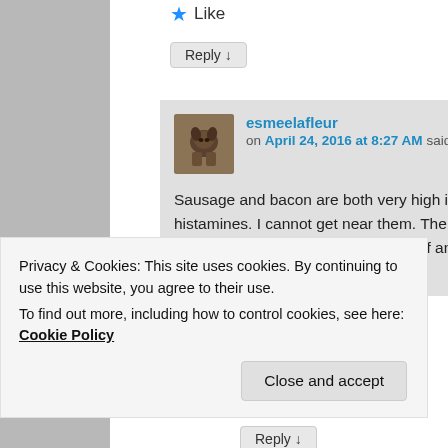★ Like
Reply ↓
esmeelafleur on April 24, 2016 at 8:27 AM said:
Sausage and bacon are both very high in histamines. I cannot get near them. The best thing to do is just fresh fatty beef and water for 30 days. This
Privacy & Cookies: This site uses cookies. By continuing to use this website, you agree to their use.
To find out more, including how to control cookies, see here: Cookie Policy
Close and accept
Reply ↓